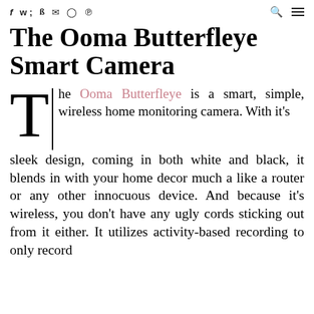f  y  b  ✉  ⊙  p  [icons]  🔍  ☰
The Ooma Butterfleye Smart Camera
The Ooma Butterfleye is a smart, simple, wireless home monitoring camera. With it's sleek design, coming in both white and black, it blends in with your home decor much a like a router or any other innocuous device. And because it's wireless, you don't have any ugly cords sticking out from it either. It utilizes activity-based recording to only record